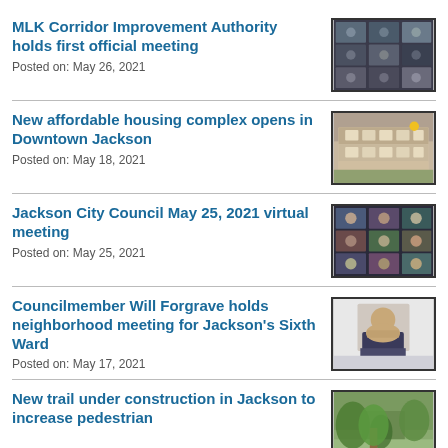MLK Corridor Improvement Authority holds first official meeting
Posted on: May 26, 2021
[Figure (photo): Virtual meeting screenshot showing grid of video call participants]
New affordable housing complex opens in Downtown Jackson
Posted on: May 18, 2021
[Figure (photo): Photo of a multi-story affordable housing complex building]
Jackson City Council May 25, 2021 virtual meeting
Posted on: May 25, 2021
[Figure (photo): Virtual meeting screenshot showing grid of city council members]
Councilmember Will Forgrave holds neighborhood meeting for Jackson's Sixth Ward
Posted on: May 17, 2021
[Figure (photo): Portrait photo of a man in a suit with a beard]
New trail under construction in Jackson to increase pedestrian
[Figure (photo): Photo of trail construction area with trees]